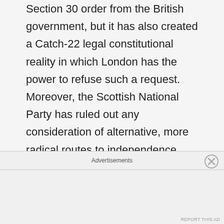Section 30 order from the British government, but it has also created a Catch-22 legal constitutional reality in which London has the power to refuse such a request. Moreover, the Scottish National Party has ruled out any consideration of alternative, more radical routes to independence other than this so-called legal route. In sum, we find ourselves at a place where independence has been reduced to nothing more than a political carrot to be offered to the Scottish electorate for the sole purpose of keeping the National Party in government in the
Advertisements